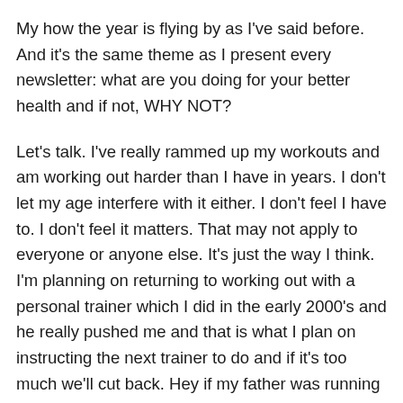My how the year is flying by as I've said before. And it's the same theme as I present every newsletter: what are you doing for your better health and if not, WHY NOT?
Let's talk. I've really rammed up my workouts and am working out harder than I have in years. I don't let my age interfere with it either. I don't feel I have to. I don't feel it matters. That may not apply to everyone or anyone else. It's just the way I think. I'm planning on returning to working out with a personal trainer which I did in the early 2000's and he really pushed me and that is what I plan on instructing the next trainer to do and if it's too much we'll cut back. Hey if my father was running marathons from his mid 60's until his early 80's this should be easy. And I'm not typical for my age; I'm the exception and mainly because